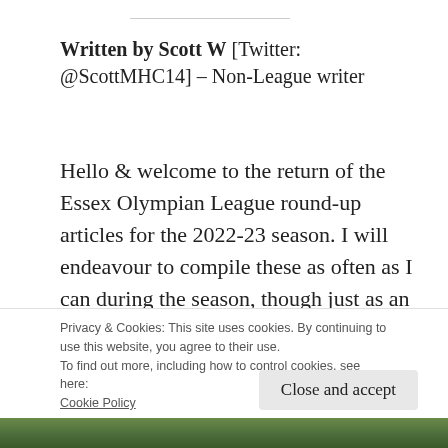Written by Scott W [Twitter: @ScottMHC14] – Non-League writer
Hello & welcome to the return of the Essex Olympian League round-up articles for the 2022-23 season. I will endeavour to compile these as often as I can during the season, though just as an advance notice that they may not be done weekly. This week, we look the [truncated]
Privacy & Cookies: This site uses cookies. By continuing to use this website, you agree to their use.
To find out more, including how to control cookies, see here: Cookie Policy
Close and accept
[Figure (photo): Partial view of a photo showing green trees at the bottom of the page]